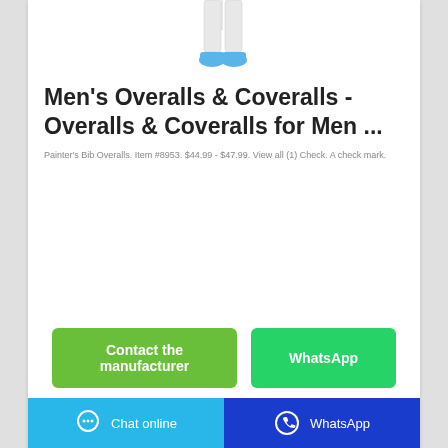[Figure (photo): Lower half of person wearing white overalls/coveralls and blue shoe covers, product illustration]
Men's Overalls & Coveralls - Overalls & Coveralls for Men ...
Painter's Bib Overalls. Item #8953. $44.99 - $47.99. View all (1) Check. A check mark.
Contact the manufacturer
WhatsApp
Chat online | WhatsApp